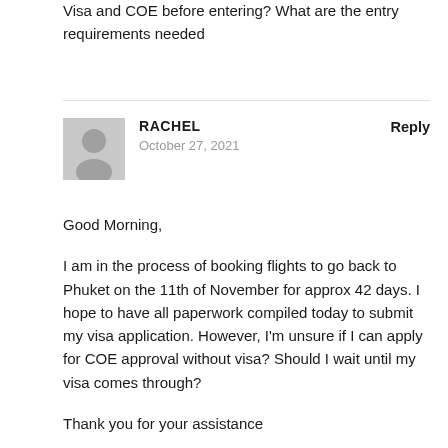Visa and COE before entering? What are the entry requirements needed
RACHEL
October 27, 2021
Good Morning,

I am in the process of booking flights to go back to Phuket on the 11th of November for approx 42 days. I hope to have all paperwork compiled today to submit my visa application. However, I'm unsure if I can apply for COE approval without visa? Should I wait until my visa comes through?

Thank you for your assistance